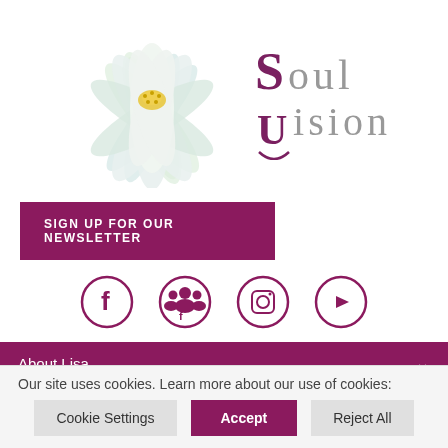[Figure (logo): Soul Vision logo with white lotus flower on the left and stylized 'Soul Vision' text with decorative U-hook on the right, in maroon/purple and grey colors]
SIGN UP FOR OUR NEWSLETTER
[Figure (infographic): Four circular social media icons in maroon/purple: Facebook, Facebook Group, Instagram, YouTube]
About Lisa
Our site uses cookies. Learn more about our use of cookies:
Cookie Settings | Accept | Reject All